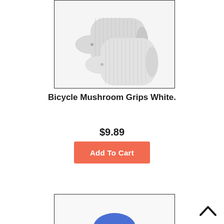[Figure (photo): Two white bicycle mushroom grips shown side by side against a white background, displayed in a bordered box.]
Bicycle Mushroom Grips White.
$9.89
Add To Cart
[Figure (photo): Partial view of a second product image showing a blue rounded shape at the bottom of a bordered box.]